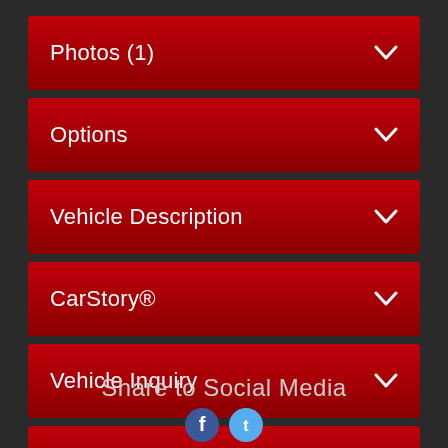Photos (1)
Options
Vehicle Description
CarStory®
Vehicle Inquiry
Share with a Friend
Make Offer
Share to Social Media